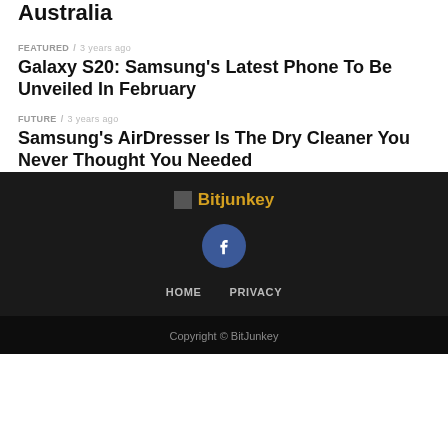Australia
FEATURED / 3 years ago
Galaxy S20: Samsung's Latest Phone To Be Unveiled In February
FUTURE / 3 years ago
Samsung's AirDresser Is The Dry Cleaner You Never Thought You Needed
[Figure (logo): Bitjunkey logo text in gold/orange color with small image placeholder]
[Figure (illustration): Facebook circular icon button, dark blue circle with white f letter]
HOME   PRIVACY
Copyright © BitJunkey